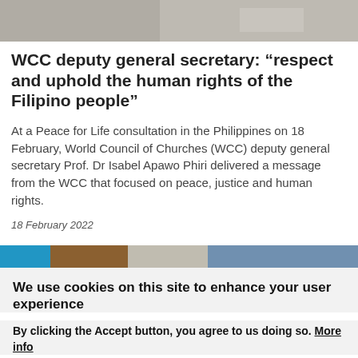[Figure (photo): Top portion of a photo, blurred/cropped, showing partial figures]
WCC deputy general secretary: “respect and uphold the human rights of the Filipino people”
At a Peace for Life consultation in the Philippines on 18 February, World Council of Churches (WCC) deputy general secretary Prof. Dr Isabel Apawo Phiri delivered a message from the WCC that focused on peace, justice and human rights.
18 February 2022
[Figure (photo): Partial strip of a photo with blue, brown, grey and blue tones]
We use cookies on this site to enhance your user experience
By clicking the Accept button, you agree to us doing so. More info
ACCEPT   NO, THANKS